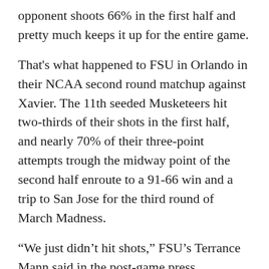opponent shoots 66% in the first half and pretty much keeps it up for the entire game.
That's what happened to FSU in Orlando in their NCAA second round matchup against Xavier. The 11th seeded Musketeers hit two-thirds of their shots in the first half, and nearly 70% of their three-point attempts trough the midway point of the second half enroute to a 91-66 win and a trip to San Jose for the third round of March Madness.
“We just didn’t hit shots,” FSU’s Terrance Mann said in the post-game press conference. “It’s tough when they hit all their 3’s and we struggled.”
Relying on their speed and length, Florida State just couldn’t match Xavier shot for shot, hovering around the 40% mark from the floor and barely using shots from beyond the arc as a weapon, trailing by 10 at the half, 44-34.